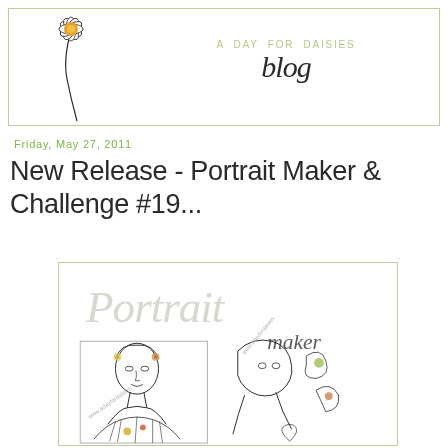[Figure (illustration): A Day for Daisies blog header banner with a hand-drawn daisy illustration on the left and the text 'A DAY FOR DAISIES blog' in the center-right area, inside a light olive-bordered rectangle.]
Friday, May 27, 2011
New Release - Portrait Maker & Challenge #19...
[Figure (illustration): A product cover image for 'Portrait maker' stamp set showing hand-drawn female portrait illustrations with floral details, in a white bordered box.]